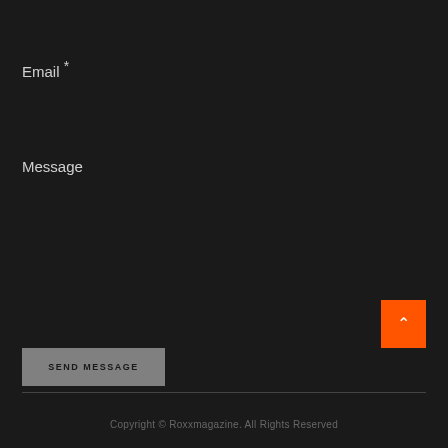Email *
Message
SEND MESSAGE
[Figure (other): Orange scroll-to-top button with upward chevron arrow]
Copyright © Roxxmagazine. All Rights Reserved